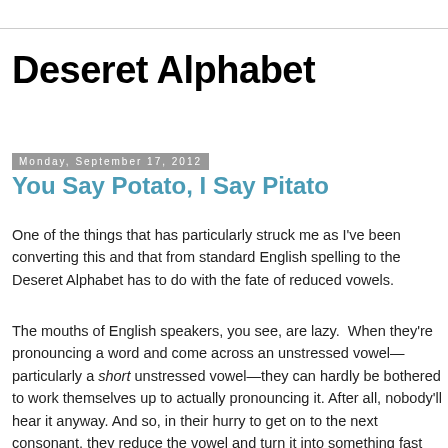Deseret Alphabet
Monday, September 17, 2012
You Say Potato, I Say Pitato
One of the things that has particularly struck me as I've been converting this and that from standard English spelling to the Deseret Alphabet has to do with the fate of reduced vowels.
The mouths of English speakers, you see, are lazy.  When they're pronouncing a word and come across an unstressed vowel—particularly a short unstressed vowel—they can hardly be bothered to work themselves up to actually pronouncing it. After all, nobody'll hear it anyway. And so, in their hurry to get on to the next consonant, they reduce the vowel and turn it into something fast and easy to pronounce